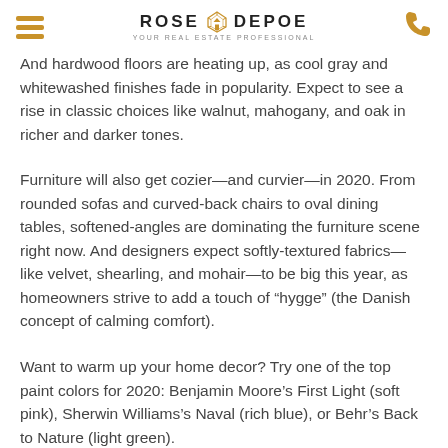Rose Depoe — Your Real Estate Professional
And hardwood floors are heating up, as cool gray and whitewashed finishes fade in popularity. Expect to see a rise in classic choices like walnut, mahogany, and oak in richer and darker tones.
Furniture will also get cozier—and curvier—in 2020. From rounded sofas and curved-back chairs to oval dining tables, softened-angles are dominating the furniture scene right now. And designers expect softly-textured fabrics—like velvet, shearling, and mohair—to be big this year, as homeowners strive to add a touch of “hygge” (the Danish concept of calming comfort).
Want to warm up your home decor? Try one of the top paint colors for 2020: Benjamin Moore’s First Light (soft pink), Sherwin Williams’s Naval (rich blue), or Behr’s Back to Nature (light green).